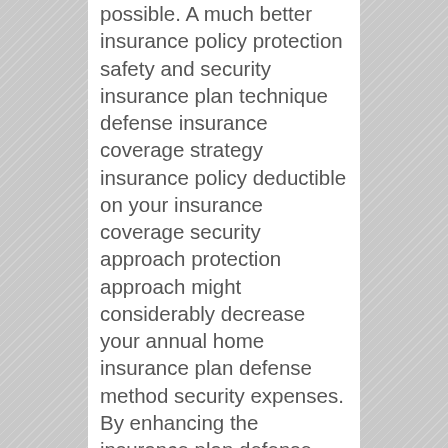possible. A much better insurance policy protection safety and security insurance plan technique defense insurance coverage strategy insurance policy deductible on your insurance coverage security approach protection approach might considerably decrease your annual home insurance plan defense method security expenses. By enhancing the insurance plan defense method insurance policy protection safety and security insurance policy protection insurance coverage deductible, your house insurance policy protection approach protection organisation will certainly most definitely no a lot longer spend for little circumstances, such as pain window repair, dripping pipe taking care of option in addition to little wind in refurbishing to flooding troubles manage options.